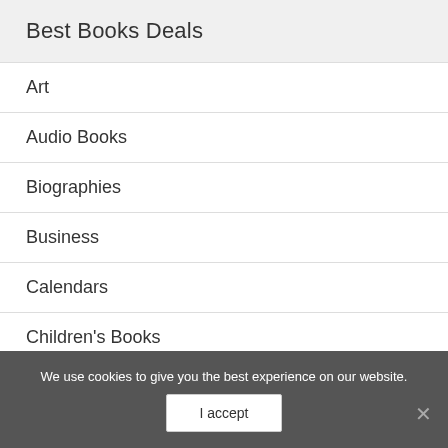Best Books Deals
Art
Audio Books
Biographies
Business
Calendars
Children's Books
Christian
Comics
We use cookies to give you the best experience on our website.
I accept